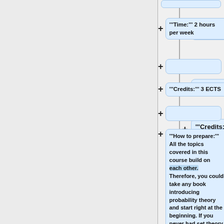'''Time:''' 2 hours per week
'''Credits:''' 3 ECTS
'''How to prepare:''' All the topics covered in this course build on each other. Therefore, you could take any book introducing probability theory and start right at the beginning. If you never had set theory ("Mengenlehre") at school, you might